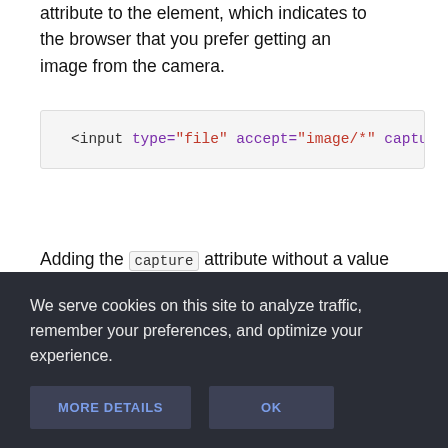attribute to the element, which indicates to the browser that you prefer getting an image from the camera.
[Figure (screenshot): Code block showing three lines of HTML input elements with type='file', accept='image/*', and captu... attributes in monospace font on a light gray background]
Adding the capture attribute without a value
We serve cookies on this site to analyze traffic, remember your preferences, and optimize your experience.
MORE DETAILS    OK